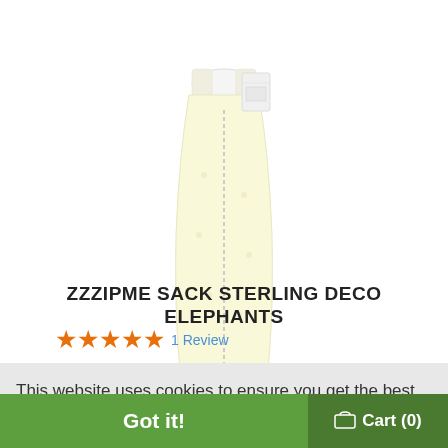[Figure (photo): A pale yellow baby sleep sack (ZzzipMe Sack Sterling Deco Elephants) with a front zipper, displayed on white background with a tag attached.]
ZZZIPME SACK STERLING DECO ELEPHANTS
★★★★★ 1 Review
This website uses cookies to ensure you get the best experience on our website.
Learn more
Got it!
Cart (0)